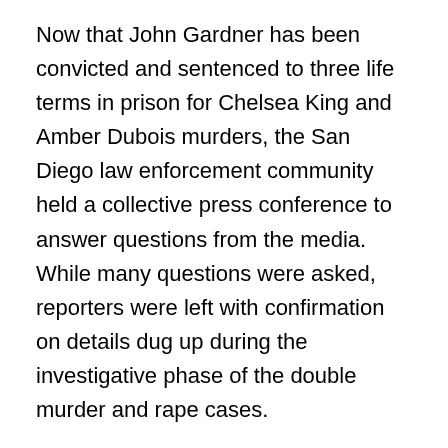Now that John Gardner has been convicted and sentenced to three life terms in prison for Chelsea King and Amber Dubois murders, the San Diego law enforcement community held a collective press conference to answer questions from the media. While many questions were asked, reporters were left with confirmation on details dug up during the investigative phase of the double murder and rape cases.
Details that stood out included acknowledgment that Gardner was taken out of county jail on a field trip to point out where he buried Amber Dubois' body. Authorities say the excursion lasted approximately three hours. During this time there was another search in Escondido at Kit Carson Park and the media speculated this was a ruse to keep press away from the recovery of Amber's remains